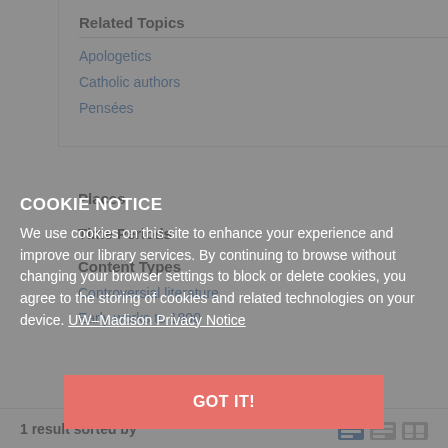Related Topics
Apologetics
Catholic authors
Pensées
Places
Time Periods
Content Types
Controversial literature
Early works to 1800
COOKIE NOTICE
We use cookies on this site to enhance your experience and improve our library services. By continuing to browse without changing your browser settings to block or delete cookies, you agree to the storing of cookies and related technologies on your device. UW–Madison Privacy Notice
GOT IT!
1 result sorted by